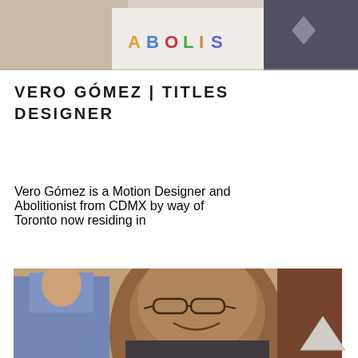[Figure (photo): Cropped top portion of a photo showing person wearing a shirt with 'ABOLIS' text visible, partially cropped at top of page]
VERO GÓMEZ | TITLES DESIGNER
Vero Gómez is a Motion Designer and Abolitionist from CDMX by way of Toronto now residing in
[Figure (photo): Photo of a smiling bald man wearing glasses, taken indoors with a woman in a blue jacket visible in background, warm/vintage filter applied]